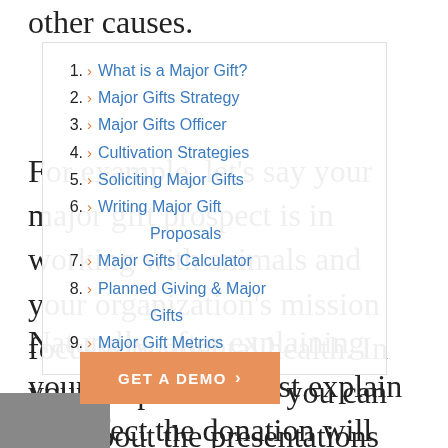other causes.
For example, let's say your major gift prospect is in working with animals and your organization's mission focuses on mental health. In your proposal letter you can talk about the presentations your organization gives about how adopting a pet can support those suffering from mental health issues.
1. What is a Major Gift?
2. Major Gifts Strategy
3. Major Gifts Officer
4. Cultivation Strategies
5. Soliciting Major Gifts
6. Writing Major Gift Proposals
7. Major Gifts Calculator
8. Planned Giving & Major Gifts
9. Major Gift Metrics
Naturally, after explaining your cause, you must explain the effect the donation will have, and what's effect your letter should touch on: